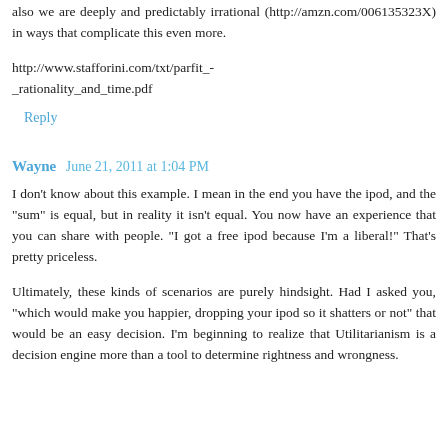also we are deeply and predictably irrational (http://amzn.com/006135323X) in ways that complicate this even more.
http://www.stafforini.com/txt/parfit_-_rationality_and_time.pdf
Reply
Wayne  June 21, 2011 at 1:04 PM
I don't know about this example. I mean in the end you have the ipod, and the "sum" is equal, but in reality it isn't equal. You now have an experience that you can share with people. "I got a free ipod because I'm a liberal!" That's pretty priceless.
Ultimately, these kinds of scenarios are purely hindsight. Had I asked you, "which would make you happier, dropping your ipod so it shatters or not" that would be an easy decision. I'm beginning to realize that Utilitarianism is a decision engine more than a tool to determine rightness and wrongness.